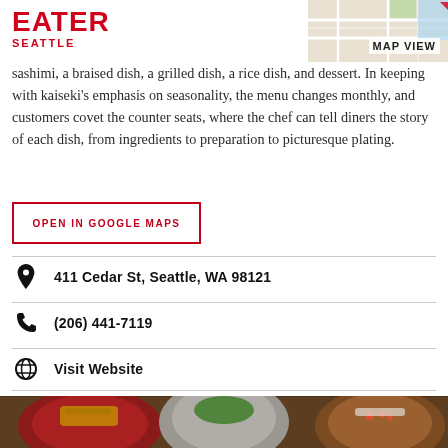EATER SEATTLE
sashimi, a braised dish, a grilled dish, a rice dish, and dessert. In keeping with kaiseki's emphasis on seasonality, the menu changes monthly, and customers covet the counter seats, where the chef can tell diners the story of each dish, from ingredients to preparation to picturesque plating.
OPEN IN GOOGLE MAPS
411 Cedar St, Seattle, WA 98121
(206) 441-7119
Visit Website
[Figure (photo): Photo of three Japanese kaiseki dishes in ceramic bowls on a wooden tray: a red lacquer bowl with fish and garnish on the left, a rustic grey stoneware cup with greens in the center, and a wooden bowl with seafood and salmon roe on the right.]